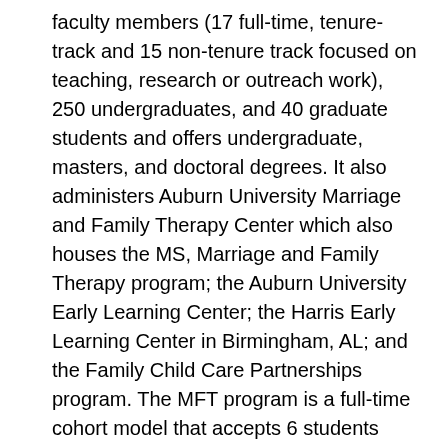faculty members (17 full-time, tenure-track and 15 non-tenure track focused on teaching, research or outreach work), 250 undergraduates, and 40 graduate students and offers undergraduate, masters, and doctoral degrees. It also administers Auburn University Marriage and Family Therapy Center which also houses the MS, Marriage and Family Therapy program; the Auburn University Early Learning Center; the Harris Early Learning Center in Birmingham, AL; and the Family Child Care Partnerships program. The MFT program is a full-time cohort model that accepts 6 students each year. HDFS administers undergraduate and graduate certificate programs in Health Equity Science as well as an Advanced Methods Certificate. Candidates whose research program complements the mission(s) of one or more of these centers/programs are strongly encouraged to apply.